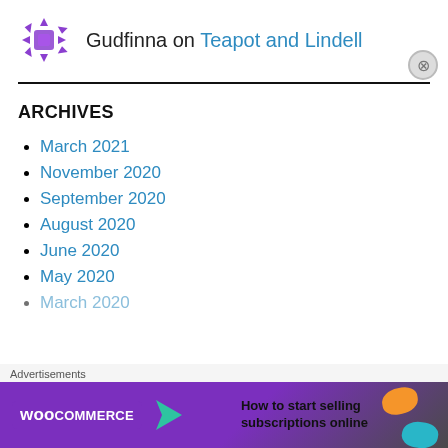Gudfinna on Teapot and Lindell
ARCHIVES
March 2021
November 2020
September 2020
August 2020
June 2020
May 2020
March 2020
Advertisements
[Figure (other): WooCommerce advertisement banner: How to start selling subscriptions online]